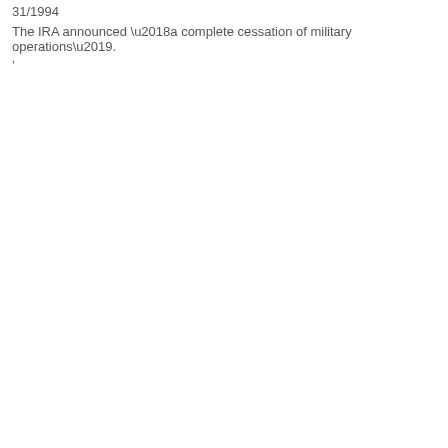31/1994
The IRA announced ‘a complete cessation of military operations’.
’